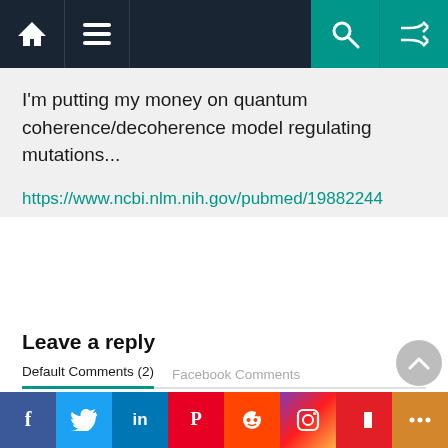Navigation bar with home, menu, search, and shuffle icons
I'm putting my money on quantum coherence/decoherence model regulating mutations...
https://www.ncbi.nlm.nih.gov/pubmed/19882244
Leave a reply
Default Comments (2)   Facebook Comments
You must be logged in to post a comment.
Social share bar: Facebook, Twitter, LinkedIn, Pinterest, Reddit, Instagram, Flipboard, More